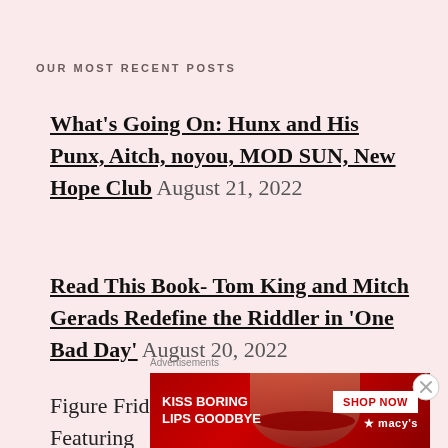OUR MOST RECENT POSTS
What's Going On: Hunx and His Punx, Aitch, noyou, MOD SUN, New Hope Club August 21, 2022
Read This Book- Tom King and Mitch Gerads Redefine the Riddler in 'One Bad Day' August 20, 2022
Figure Friday: Power Con 2022 Featuring
Advertisements
[Figure (other): Advertisement banner for Macy's: 'KISS BORING LIPS GOODBYE' with SHOP NOW button and Macy's star logo, showing a woman with red lips]